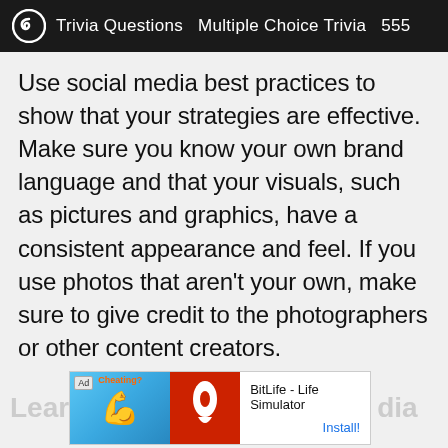Trivia Questions  Multiple Choice Trivia  555
Use social media best practices to show that your strategies are effective. Make sure you know your own brand language and that your visuals, such as pictures and graphics, have a consistent appearance and feel. If you use photos that aren't your own, make sure to give credit to the photographers or other content creators.
[Figure (screenshot): Advertisement banner at bottom of page: Ad label, animated app advertisement for BitLife - Life Simulator with Install button]